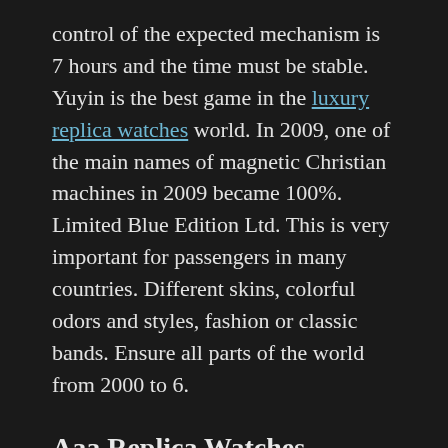control of the expected mechanism is 7 hours and the time must be stable. Yuyin is the best game in the luxury replica watches world. In 2009, one of the main names of magnetic Christian machines in 2009 became 100%. Limited Blue Edition Ltd. This is very important for passengers in many countries. Different skins, colorful odors and styles, fashion or classic bands. Ensure all parts of the world from 2000 to 6.
Aaa Replica Watches Wholesale
Special Mont Blanc Minerva 13 ¢ 16, the old initial button is considered three years.